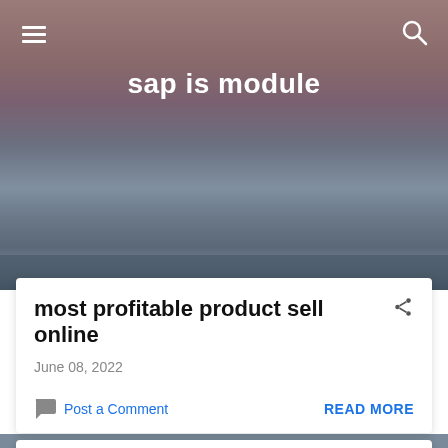sap is module
most profitable product sell online
June 08, 2022
Post a Comment
READ MORE
post 4
November 25, 2021